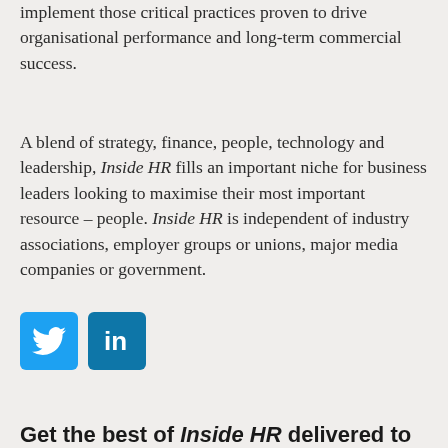implement those critical practices proven to drive organisational performance and long-term commercial success.
A blend of strategy, finance, people, technology and leadership, Inside HR fills an important niche for business leaders looking to maximise their most important resource – people. Inside HR is independent of industry associations, employer groups or unions, major media companies or government.
[Figure (other): Social media icons: Twitter (blue bird icon) and LinkedIn (blue 'in' icon)]
Get the best of Inside HR delivered to